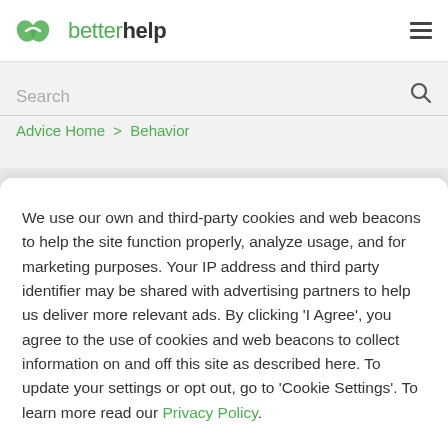betterhelp
Search
Advice Home > Behavior
We use our own and third-party cookies and web beacons to help the site function properly, analyze usage, and for marketing purposes. Your IP address and third party identifier may be shared with advertising partners to help us deliver more relevant ads. By clicking 'I Agree', you agree to the use of cookies and web beacons to collect information on and off this site as described here. To update your settings or opt out, go to 'Cookie Settings'. To learn more read our Privacy Policy.
Cookie Settings
I Agree